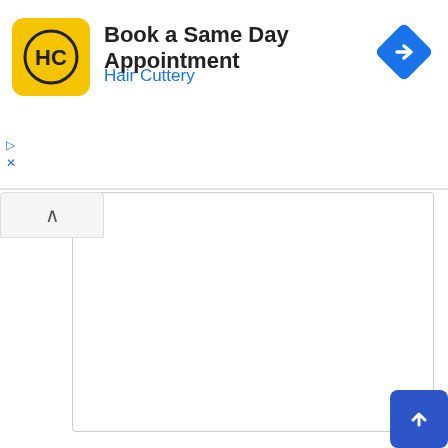[Figure (logo): Hair Cuttery HC yellow square logo with black circle and HC text]
Book a Same Day Appointment
Hair Cuttery
[Figure (illustration): Blue diamond navigation arrow icon pointing right]
Name *
Email *